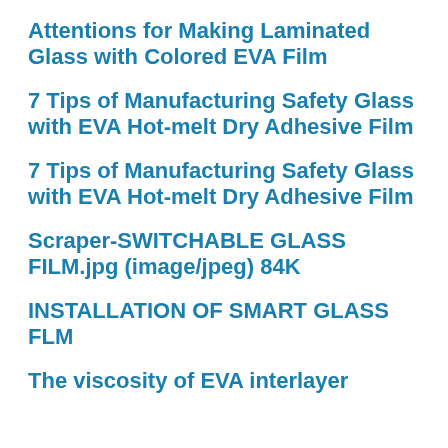Attentions for Making Laminated Glass with Colored EVA Film
7 Tips of Manufacturing Safety Glass with EVA Hot-melt Dry Adhesive Film
7 Tips of Manufacturing Safety Glass with EVA Hot-melt Dry Adhesive Film
Scraper-SWITCHABLE GLASS FILM.jpg (image/jpeg) 84K
INSTALLATION OF SMART GLASS FLM
The viscosity of EVA interlayer